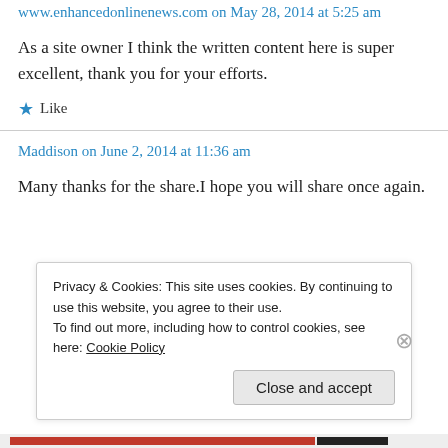www.enhancedonlinenews.com on May 28, 2014 at 5:25 am
As a site owner I think the written content here is super excellent, thank you for your efforts.
★ Like
Maddison on June 2, 2014 at 11:36 am
Many thanks for the share.I hope you will share once again.
Privacy & Cookies: This site uses cookies. By continuing to use this website, you agree to their use.
To find out more, including how to control cookies, see here: Cookie Policy
Close and accept